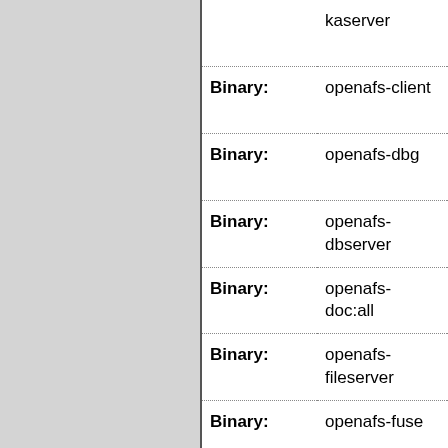| Type | Name |  |
| --- | --- | --- |
|  | kaserver | p n |
| Binary: | openafs-client | p n |
| Binary: | openafs-dbg | p n |
| Binary: | openafs-dbserver | p n |
| Binary: | openafs-doc:all | p n |
| Binary: | openafs-fileserver | p n |
| Binary: | openafs-fuse | p n |
| Binary: | openafs-kpasswd | p n |